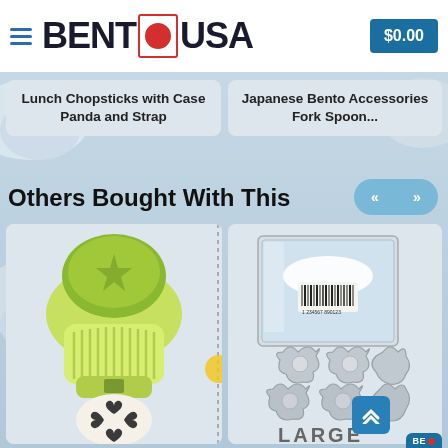[Figure (logo): BentoUSA website header with hamburger menu, logo with red circle, and $0.00 cart button]
Lunch Chopsticks with Case Panda and Strap
Japanese Bento Accessories Fork Spoon...
Others Bought With This
[Figure (photo): Green paper punch craft tool with a punched rice ball showing heart clover pattern]
[Figure (photo): Set of stainless steel flower-shaped vegetable cutters in clear plastic box, labeled LARGE]